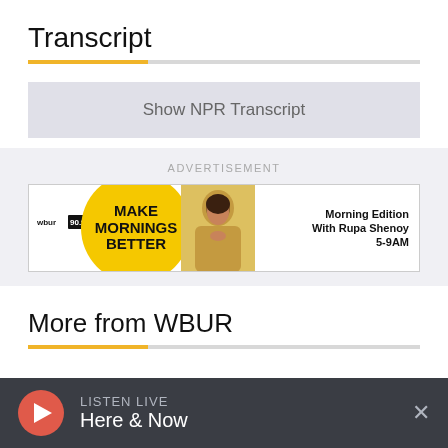Transcript
Show NPR Transcript
ADVERTISEMENT
[Figure (illustration): WBUR radio advertisement banner: yellow circle with text 'MAKE MORNINGS BETTER', photo of Rupa Shenoy, text 'Morning Edition With Rupa Shenoy 5-9AM']
More from WBUR
LISTEN LIVE Here & Now